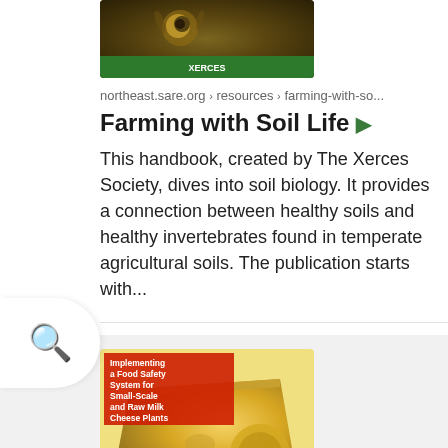[Figure (photo): Thumbnail image of Farming with Soil Life book cover, showing nature/insects with a green bar at the bottom]
northeast.sare.org › resources › farming-with-so...
Farming with Soil Life ▶
This handbook, created by The Xerces Society, dives into soil biology. It provides a connection between healthy soils and healthy invertebrates found in temperate agricultural soils. The publication starts with...
[Figure (photo): Thumbnail image of Implementing a Food Safety System for Small-Scale and Raw Milk Cheese Plants book cover, showing cheese and food items]
northeast.sare.org › resources › implementing-a...
Implementing a Food Safety System